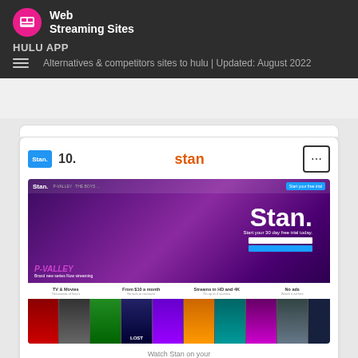Web Streaming Sites
HULU APP
Alternatives & competitors sites to hulu | Updated: August 2022
[Figure (screenshot): Stan streaming website screenshot showing Stan. branding, P-Valley series promotion, TV & Movies, From $10 a month, Streams in HD and 4K, No ads features, and a grid of TV show thumbnails]
Watch Stan on your